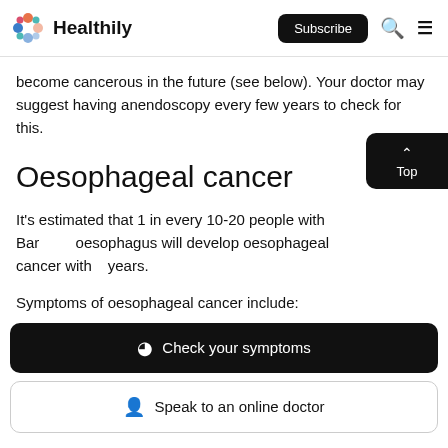Healthily | Subscribe
become cancerous in the future (see below). Your doctor may suggest having anendoscopy every few years to check for this.
Oesophageal cancer
It's estimated that 1 in every 10-20 people with Barrett's oesophagus will develop oesophageal cancer within years.
Symptoms of oesophageal cancer include:
[Figure (other): Check your symptoms button (dark background)]
[Figure (other): Speak to an online doctor button (light background)]